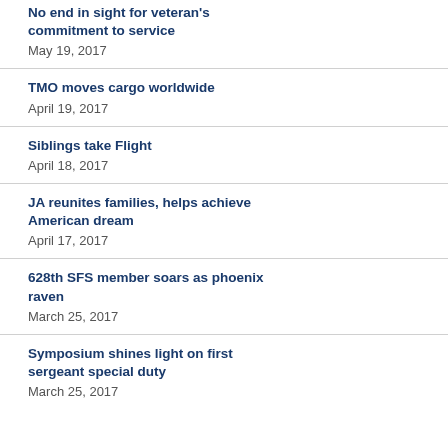No end in sight for veteran's commitment to service
May 19, 2017
TMO moves cargo worldwide
April 19, 2017
Siblings take Flight
April 18, 2017
JA reunites families, helps achieve American dream
April 17, 2017
628th SFS member soars as phoenix raven
March 25, 2017
Symposium shines light on first sergeant special duty
March 25, 2017